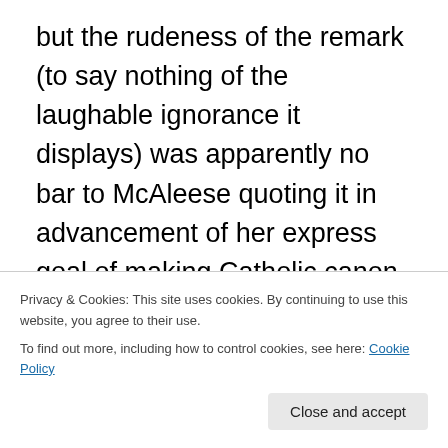but the rudeness of the remark (to say nothing of the laughable ignorance it displays) was apparently no bar to McAleese quoting it in advancement of her express goal of making Catholic canon law answerable to national law and international convention. Readers might wish to consult, however, Canon 22 (and CCEO 1504), and the important traditions behind such canons, for a better introduction to
Privacy & Cookies: This site uses cookies. By continuing to use this website, you agree to their use. To find out more, including how to control cookies, see here: Cookie Policy
Close and accept